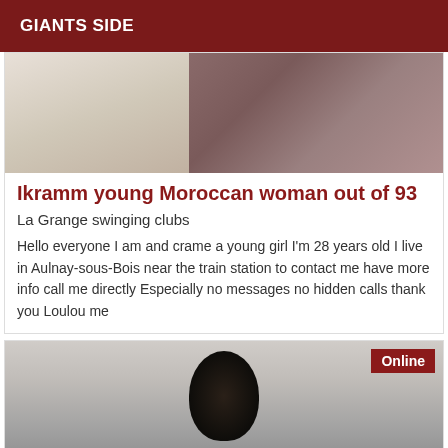GIANTS SIDE
[Figure (photo): Partial photo showing bedding/pillows with beige and brown/mauve tones]
Ikramm young Moroccan woman out of 93
La Grange swinging clubs
Hello everyone I am and crame a young girl I'm 28 years old I live in Aulnay-sous-Bois near the train station to contact me have more info call me directly Especially no messages no hidden calls thank you Loulou me
[Figure (photo): Photo of a person with dark hair on a light background, with an 'Online' badge in the top right corner]